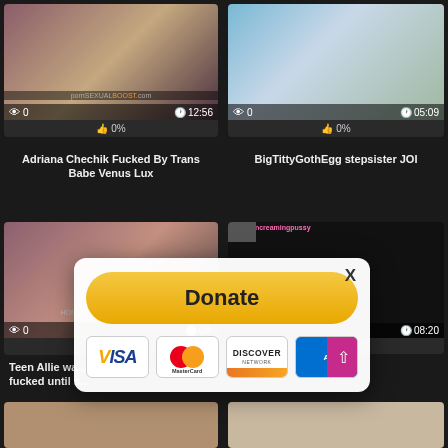[Figure (screenshot): Video thumbnail: Adriana Chechik Fucked By Trans Babe Venus Lux, 0 views, 12:56 duration, 0% likes]
Adriana Chechik Fucked By Trans Babe Venus Lux
[Figure (screenshot): Video thumbnail: BigTittyGothEgg stepsister JOI, 0 views, 05:09 duration, 0% likes]
BigTittyGothEgg stepsister JOI
[Figure (screenshot): Video thumbnail: Teen Allie wa... fucked until s..., 0 views, 08:xx duration, 0% likes]
Teen Allie wa... fucked until s...
[Figure (screenshot): Video thumbnail: dark/black screen with pink text overlay, 08:20 duration]
[Figure (screenshot): Partial bottom row video thumbnail left]
[Figure (screenshot): Partial bottom row video thumbnail right]
[Figure (infographic): Donation modal overlay with Donate button and payment icons: VISA, MasterCard, Discover Network, American Express, scroll-up button]